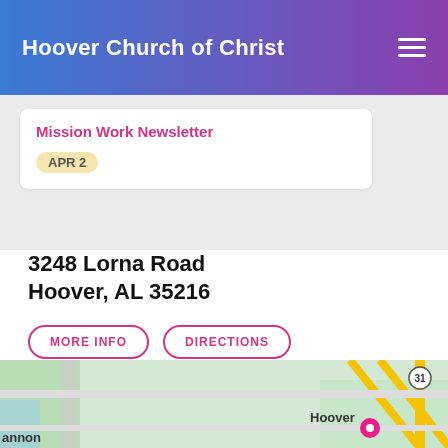Hoover Church of Christ
Mission Work Newsletter
APR 2
3248 Lorna Road
Hoover, AL 35216
MORE INFO   DIRECTIONS
Sunday Bible Class @ 9am
Sunday Worship @ 10am and 5pm
Wednesday Bible Class @ 7pm
205.822.5610    office@hooverchurchofchrist.org
[Figure (map): Google Maps snippet showing roads near Hoover, AL with route 31 visible and a pink location pin marker near Hoover label]